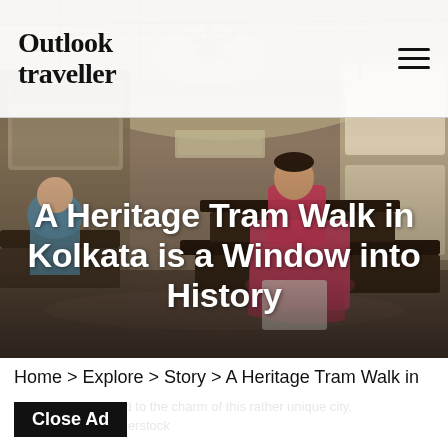Outlook traveller
[Figure (photo): Interior of a vintage Kolkata tram with passengers seated on wooden benches. A woman in a pink saree sits prominently in the center. Warm sepia tones with natural light from windows on the right side.]
A Heritage Tram Walk in Kolkata is a Window into History
Kolkata's trams add to the charm of this rather unique city, Photo Credit: Shutterstock
Home > Explore > Story > A Heritage Tram Walk in
Close Ad